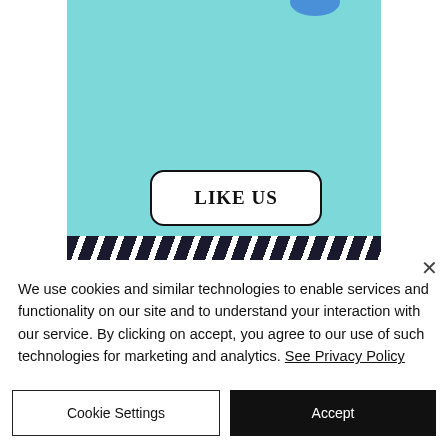[Figure (illustration): A teal/cyan background panel with a partial blue circle at top and a 'LIKE US' button with rounded rectangle border in the center. A dark zebra-stripe decorative bar runs across the bottom of the panel.]
We use cookies and similar technologies to enable services and functionality on our site and to understand your interaction with our service. By clicking on accept, you agree to our use of such technologies for marketing and analytics. See Privacy Policy
Cookie Settings
Accept